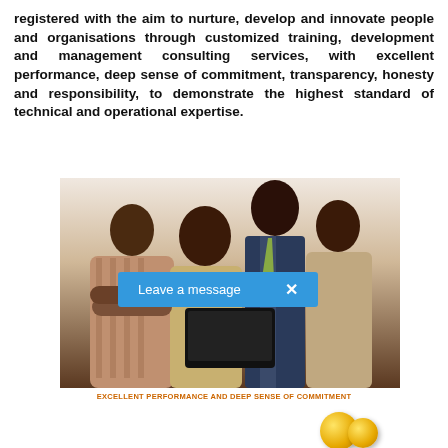registered with the aim to nurture, develop and innovate people and organisations through customized training, development and management consulting services, with excellent performance, deep sense of commitment, transparency, honesty and responsibility, to demonstrate the highest standard of technical and operational expertise.
[Figure (photo): Group of four African business professionals, two men and two women, with a chat popup overlay reading 'Leave a message X']
EXCELLENT PERFORMANCE AND DEEP SENSE OF COMMITMENT
[Figure (photo): Partial view of gold coins at bottom of page, with a dark scroll-to-top button on the right]